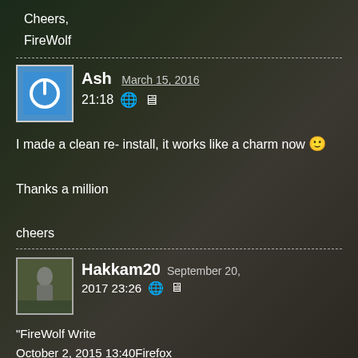Cheers,
FireWolf
Ash   March 15, 2016
21:18
I made a clean re- install, it works like a charm now 🙂

Thanks a million

cheers
Hakkam20   September 20, 2017   23:26
"FireWolf Write October 2, 2015 13:40Firefox 40Firefox 40Mac OS X 10.11Mac OS X 10.11